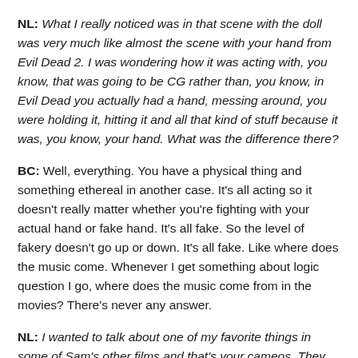NL: What I really noticed was in that scene with the doll was very much like almost the scene with your hand from Evil Dead 2. I was wondering how it was acting with, you know, that was going to be CG rather than, you know, in Evil Dead you actually had a hand, messing around, you were holding it, hitting it and all that kind of stuff because it was, you know, your hand. What was the difference there?
BC: Well, everything. You have a physical thing and something ethereal in another case. It's all acting so it doesn't really matter whether you're fighting with your actual hand or fake hand. It's all fake. So the level of fakery doesn't go up or down. It's all fake. Like where does the music come. Whenever I get something about logic question I go, where does the music come from in the movies? There's never any answer.
NL: I wanted to talk about one of my favorite things in some of Sam's other films and that's your cameos. They are usually the funniest